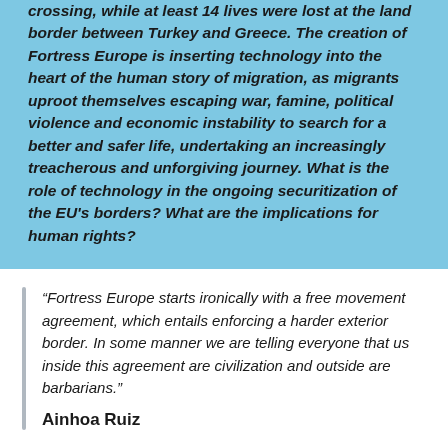crossing, while at least 14 lives were lost at the land border between Turkey and Greece. The creation of Fortress Europe is inserting technology into the heart of the human story of migration, as migrants uproot themselves escaping war, famine, political violence and economic instability to search for a better and safer life, undertaking an increasingly treacherous and unforgiving journey. What is the role of technology in the ongoing securitization of the EU's borders? What are the implications for human rights?
“Fortress Europe starts ironically with a free movement agreement, which entails enforcing a harder exterior border. In some manner we are telling everyone that us inside this agreement are civilization and outside are barbarians.”
Ainhoa Ruiz